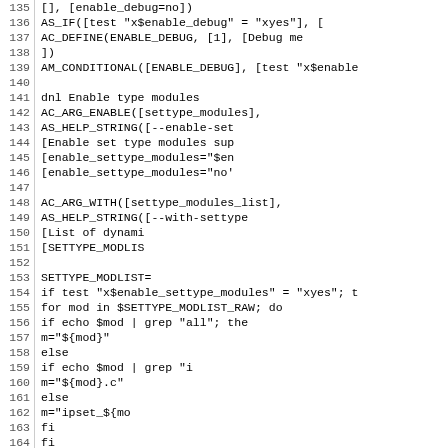[Figure (screenshot): Source code listing showing lines 135-164 of a configure.ac or similar autoconf build script, displayed in monospace font with line numbers on the left.]